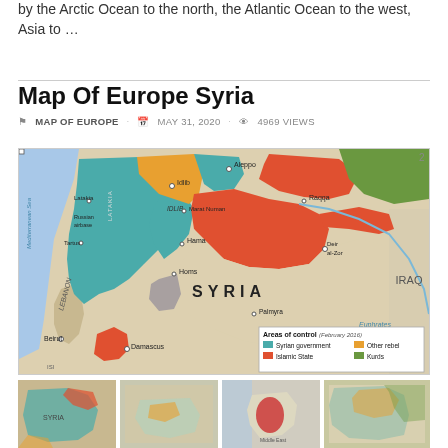by the Arctic Ocean to the north, the Atlantic Ocean to the west, Asia to …
Map Of Europe Syria
MAP OF EUROPE · MAY 31, 2020 · 4969 Views
[Figure (map): Map of Syria showing areas of control as of February 2016. Regions include Syrian government (teal), Islamic State (red/orange), Other rebel (yellow/orange), and Kurds (green). Cities labeled include Aleppo, Idlib, Marat Numan, Latakia, Russian airbase, Tartus, Hama, Homs, Deir al-Zor, Raqqa, Palmyra, Damascus, Beirut. Neighboring countries include Lebanon and Iraq. Mediterranean Sea to the west, Euphrates river to the east.]
[Figure (map): Thumbnail map 1 - Syria conflict map]
[Figure (map): Thumbnail map 2]
[Figure (map): Thumbnail map 3 - Middle East map with Syria highlighted]
[Figure (map): Thumbnail map 4 - Regional map]